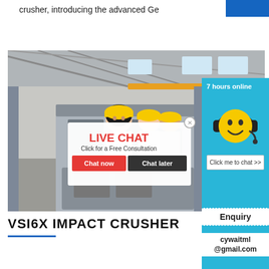crusher, introducing the advanced Ge
[Figure (photo): Industrial factory interior with heavy machinery (crusher equipment), with workers in yellow hard hats in the foreground and a live chat popup overlay showing 'LIVE CHAT - Click for a Free Consultation' with Chat now and Chat later buttons. To the right is a customer service chatbot with a smiley face emoji wearing headphones, '7 hours online', and a 'Click me to chat >>' button.]
VSI6X IMPACT CRUSHER
Enquiry
cywaitml @gmail.com